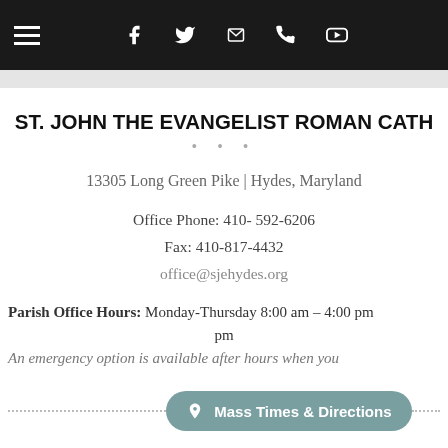Navigation bar with hamburger menu, Facebook, Twitter, email, phone, YouTube icons
ST. JOHN THE EVANGELIST ROMAN CATH
13305 Long Green Pike | Hydes, Maryland
Office Phone: 410- 592-6206
Fax: 410-817-4432
office@sjehydes.org
Parish Office Hours: Monday-Thursday 8:00 am – 4:00 pm pm An emergency option is available after hours when you